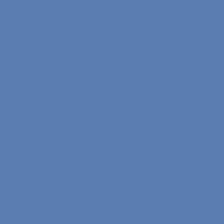Mullin, D-South San Francisco, proposes raising the minimum age to enter kindergarten from 5 years old by Dec. 2 to 5 years old by Sept. 1 and